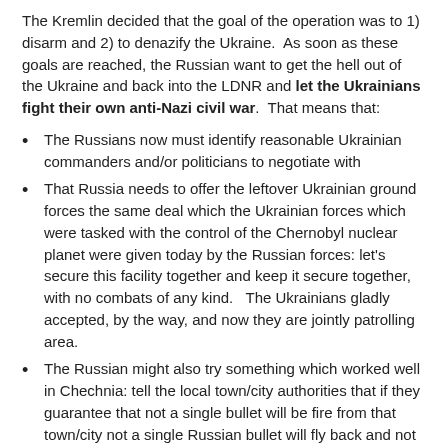The Kremlin decided that the goal of the operation was to 1) disarm and 2) to denazify the Ukraine.  As soon as these goals are reached, the Russian want to get the hell out of the Ukraine and back into the LDNR and let the Ukrainians fight their own anti-Nazi civil war.  That means that:
The Russians now must identify reasonable Ukrainian commanders and/or politicians to negotiate with
That Russia needs to offer the leftover Ukrainian ground forces the same deal which the Ukrainian forces which were tasked with the control of the Chernobyl nuclear planet were given today by the Russian forces: let's secure this facility together and keep it secure together, with no combats of any kind.   The Ukrainians gladly accepted, by the way, and now they are jointly patrolling area.
The Russian might also try something which worked well in Chechnia: tell the local town/city authorities that if they guarantee that not a single bullet will be fire from that town/city not a single Russian bullet will fly back and not a single Russian solider will enter the city, unless accompanied by locals and in order to ascertain the reality of the situation.  But if a city is declared “open and peaceful” and then is used to attack Russian forces, it will be simply flattened with